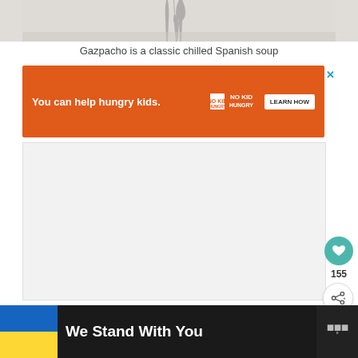[Figure (photo): Top portion of a photo showing a bowl of gazpacho soup with utensils, cropped at the top of the page]
Gazpacho is a classic chilled Spanish soup
[Figure (screenshot): Orange advertisement banner: 'You can help hungry kids. NO KID HUNGRY LEARN HOW' with close X button]
[Figure (screenshot): Gray content area placeholder with teal heart favorite button showing 155 likes and a share button]
[Figure (screenshot): Black bottom banner with Ukraine flag colors and text 'We Stand With You' and website logo on right]